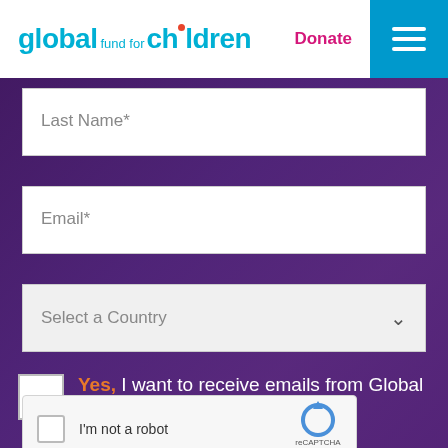global fund for children | Donate
Last Name*
Email*
Select a Country
Yes, I want to receive emails from Global Fund for Children.
I'm not a robot | reCAPTCHA | Privacy - Terms